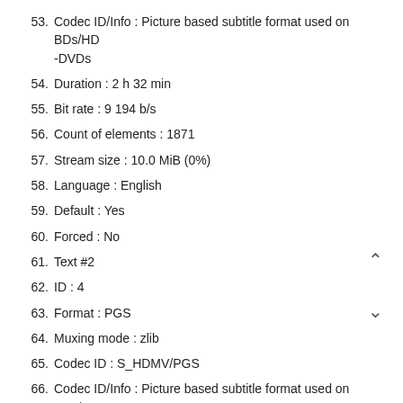53. Codec ID/Info : Picture based subtitle format used on BDs/HD-DVDs
54. Duration : 2 h 32 min
55. Bit rate : 9 194 b/s
56. Count of elements : 1871
57. Stream size : 10.0 MiB (0%)
58. Language : English
59. Default : Yes
60. Forced : No
61. Text #2
62. ID : 4
63. Format : PGS
64. Muxing mode : zlib
65. Codec ID : S_HDMV/PGS
66. Codec ID/Info : Picture based subtitle format used on BDs/HD-DVDs
67. Duration : 2 h 36 min
68. Bit rate : 3 195 b/s